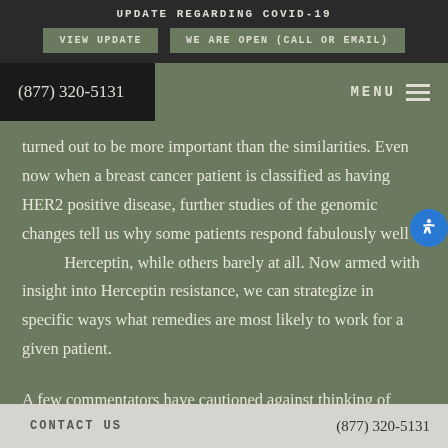UPDATE REGARDING COVID-19
VIEW UPDATE | WE ARE OPEN (CALL OR EMAIL)
(877) 320-5131  MENU
turned out to be more important than the similarities. Even now when a breast cancer patient is classified as having HER2 positive disease, further studies of the genomic changes tell us why some patients respond fabulously well to Herceptin, while others barely at all. Now armed with insight into Herceptin resistance, we can strategize in specific ways what remedies are most likely to work for a given patient.
A few commentators have cautioned against thinking of
CONTACT US    (877) 320-5131